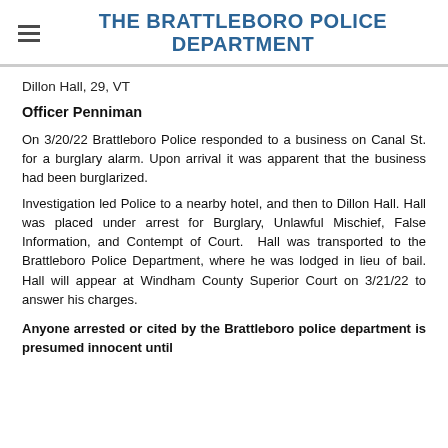THE BRATTLEBORO POLICE DEPARTMENT
Dillon Hall, 29, VT
Officer Penniman
On 3/20/22 Brattleboro Police responded to a business on Canal St. for a burglary alarm. Upon arrival it was apparent that the business had been burglarized.
Investigation led Police to a nearby hotel, and then to Dillon Hall. Hall was placed under arrest for Burglary, Unlawful Mischief, False Information, and Contempt of Court. Hall was transported to the Brattleboro Police Department, where he was lodged in lieu of bail. Hall will appear at Windham County Superior Court on 3/21/22 to answer his charges.
Anyone arrested or cited by the Brattleboro police department is presumed innocent until